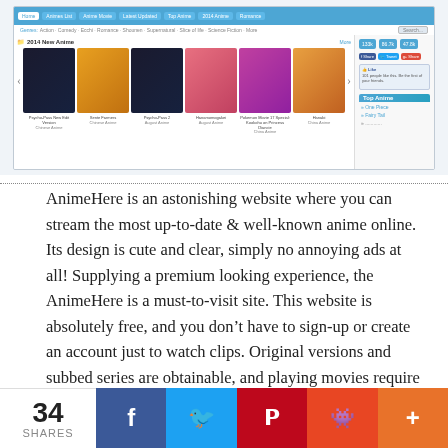[Figure (screenshot): Screenshot of AnimeHere website showing navigation bar with Home, Animes List, Anime Movie, Latest Updated, Top Anime, 2014 Anime, Romance tabs; breadcrumb navigation; 2014 New Anime section with thumbnails including Psycho-Pass, Sente Farmers, Psycho-Pass 2, Hanamomogakei, Pokemon Movie, Hanabi; and right sidebar with share counts (133k, 86.7k, 47.8k), Facebook like box, and Top Anime list (One Piece, Fairy Tail)]
AnimeHere is an astonishing website where you can stream the most up-to-date & well-known anime online. Its design is cute and clear, simply no annoying ads at all! Supplying a premium looking experience, the AnimeHere is a must-to-visit site. This website is absolutely free, and you don't have to sign-up or create an account just to watch clips. Original versions and subbed series are obtainable, and playing movies require only a single click.
34 SHARES  [Facebook] [Twitter] [Pinterest] [Reddit] [More]